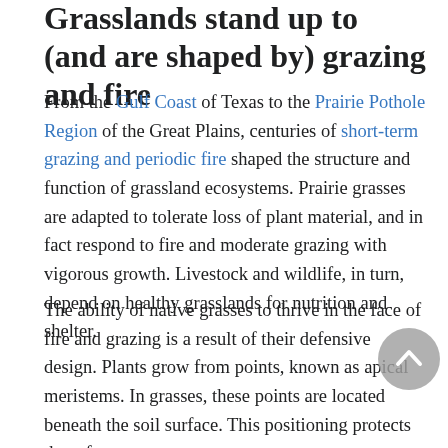Grasslands stand up to (and are shaped by) grazing and fire
From the Gulf Coast of Texas to the Prairie Pothole Region of the Great Plains, centuries of short-term grazing and periodic fire shaped the structure and function of grassland ecosystems. Prairie grasses are adapted to tolerate loss of plant material, and in fact respond to fire and moderate grazing with vigorous growth. Livestock and wildlife, in turn, depend on healthy grasslands for nutrition and shelter.
The ability of native grasses to thrive in the face of fire and grazing is a result of their defensive design. Plants grow from points, known as apical meristems. In grasses, these points are located beneath the soil surface. This positioning protects them from...